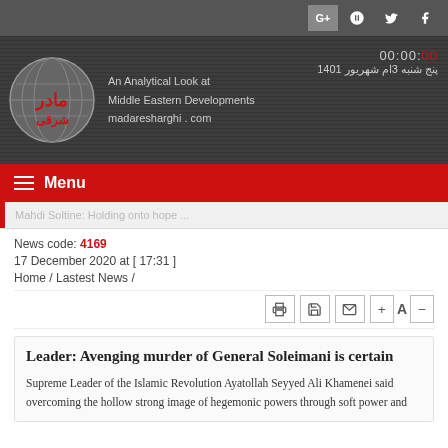Social bar with G+, Telegram, Twitter, Facebook icons
[Figure (logo): Madar Sharghi website header with globe logo, text: An Analytical Look at Middle Eastern Developments madaresharghi.com. Time shown: 00:00:00, date: پنج شنبه 3ام شهریور 1401]
Menu
Mahdi Soltine: Holding onto hope ...
News code: 4169
17 December 2020 at [ 17:31 ]
Home / Lastest News /
Leader: Avenging murder of General Soleimani is certain
Supreme Leader of the Islamic Revolution Ayatollah Seyyed Ali Khamenei said overcoming the hollow strong image of hegemonic powers through soft power and